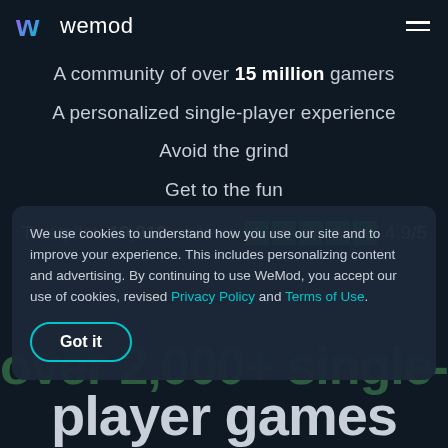wemod
A community of over 15 million gamers
A personalized single-player experience
Avoid the grind
Get to the fun
Trustpilot: 19,819 reviews ★★★★★ 4.9/5
We use cookies to understand how you use our site and to improve your experience. This includes personalizing content and advertising. By continuing to use WeMod, you accept our use of cookies, revised Privacy Policy and Terms of Use.
over 2,000+ single-
player games